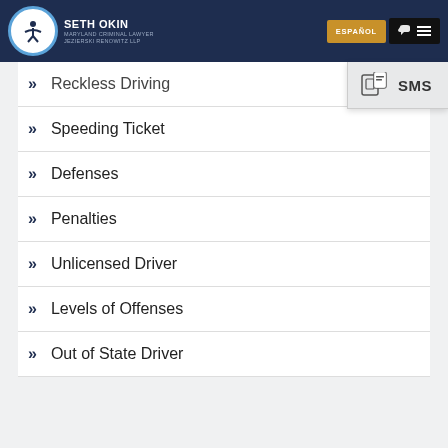Seth Okin Maryland Criminal Lawyer Jezierski Renowitz LLP
Reckless Driving
Speeding Ticket
Defenses
Penalties
Unlicensed Driver
Levels of Offenses
Out of State Driver
[Figure (screenshot): SMS popup button in top right area]